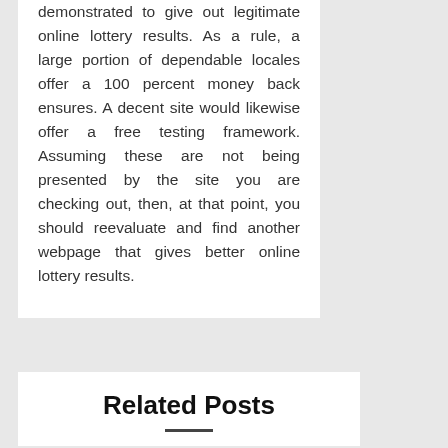demonstrated to give out legitimate online lottery results. As a rule, a large portion of dependable locales offer a 100 percent money back ensures. A decent site would likewise offer a free testing framework. Assuming these are not being presented by the site you are checking out, then, at that point, you should reevaluate and find another webpage that gives better online lottery results.
Related Posts